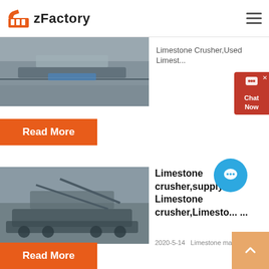zFactory
[Figure (photo): Limestone crusher machinery at a quarry site, aerial/wide view with conveyor belts and machinery]
Limestone Crusher,Used Limest...
Read More
[Figure (photo): Limestone crusher mobile machine at a quarry, showing large mobile crushing equipment with wheels and conveyor belts]
Limestone crusher,supply Limestone crusher,Limesto... ...
2020-5-14   Limestone main com...
Read More